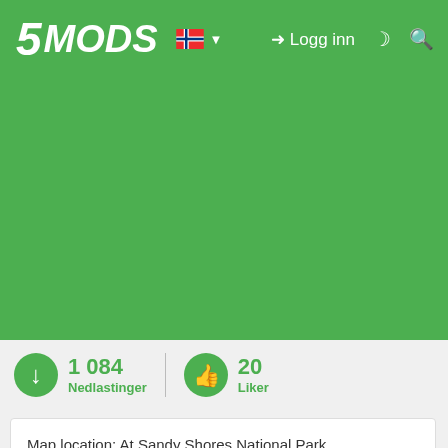5MODS — Logg inn
[Figure (infographic): Green background area (banner/advertisement space)]
1 084 Nedlastinger   20 Liker
Map location: At Sandy Shores National Park.
Map type: Heavy Garage
File: .ymap

Build for RP on Five-M.Based on one episode of PGN where they are trying to compete against flywheels but went off track as the props spawned didnt seem to match with the situation.

Installation: